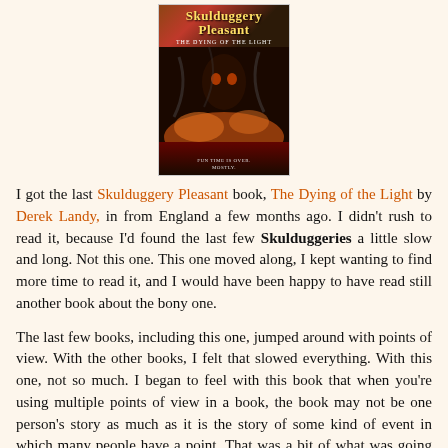[Figure (photo): Book cover of Skulduggery Pleasant: The Dying of the Light by Derek Landy, showing a dark fantasy scene with a skull-like figure amid fire and smoke, with the text 'Fun time is over. Mostly.' at the bottom.]
I got the last Skulduggery Pleasant book, The Dying of the Light by Derek Landy, in from England a few months ago. I didn't rush to read it, because I'd found the last few Skulduggeries a little slow and long. Not this one. This one moved along, I kept wanting to find more time to read it, and I would have been happy to have read still another book about the bony one.
The last few books, including this one, jumped around with points of view. With the other books, I felt that slowed everything. With this one, not so much. I began to feel with this book that when you're using multiple points of view in a book, the book may not be one person's story as much as it is the story of some kind of event in which many people have a point. That was a bit of what was going on here. Instead of being just Valkyrie Cain's story,